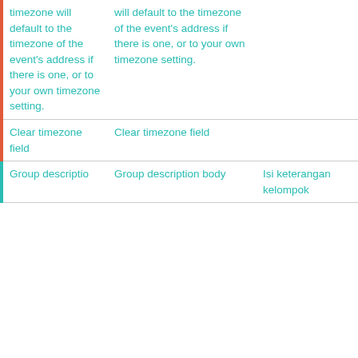|  |  |  |  |
| --- | --- | --- | --- |
| timezone will default to the timezone of the event's address if there is one, or to your own timezone setting. | will default to the timezone of the event's address if there is one, or to your own timezone setting. |  |  |
| Clear timezone field | Clear timezone field |  | icons |
| Group descriptio | Group description body | Isi keterangan kelompok | icons |